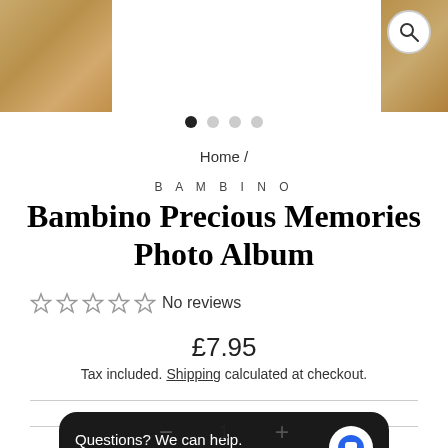[Figure (photo): Product page screenshot showing wood texture image strip at top with search icon]
• • • •  (carousel dots, first one filled)
Home /
BAMBINO
Bambino Precious Memories Photo Album
☆ ☆ ☆ ☆ ☆ No reviews
£7.95
Tax included. Shipping calculated at checkout.
Questions? We can help.
Chat with us now.